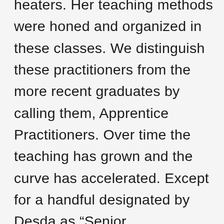heaters. Her teaching methods were honed and organized in these classes. We distinguish these practitioners from the more recent graduates by calling them, Apprentice Practitioners. Over time the teaching has grown and the curve has accelerated. Except for a handful designated by Desda as “Senior Practitioners,” it is now hard to find much difference in the professional skill demonstrated by Practitioners of any level. With the publication of Your Sacred Anatomy in 2012, all SAEM Practitioners are familiar with the anatomy that Desda